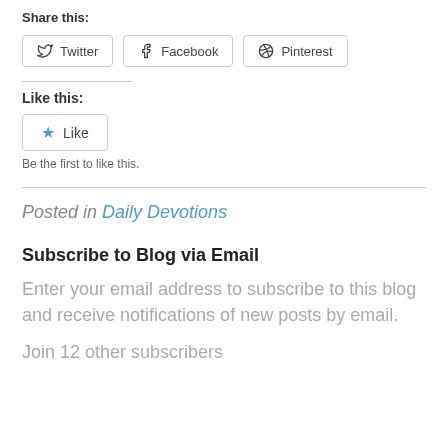Share this:
Twitter Facebook Pinterest
Like this:
Like
Be the first to like this.
Posted in Daily Devotions
Subscribe to Blog via Email
Enter your email address to subscribe to this blog and receive notifications of new posts by email.
Join 12 other subscribers